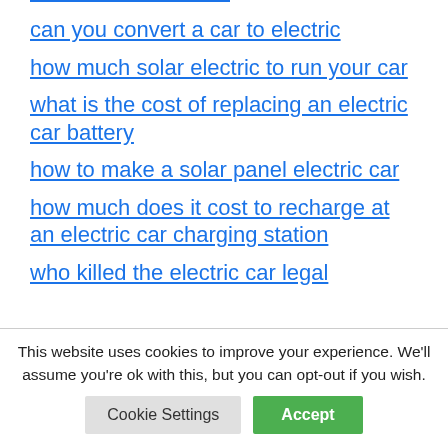can you convert a car to electric
how much solar electric to run your car
what is the cost of replacing an electric car battery
how to make a solar panel electric car
how much does it cost to recharge at an electric car charging station
who killed the electric car legal
This website uses cookies to improve your experience. We'll assume you're ok with this, but you can opt-out if you wish.